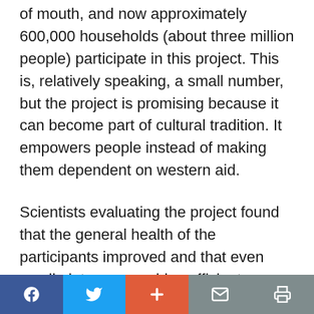of mouth, and now approximately 600,000 households (about three million people) participate in this project. This is, relatively speaking, a small number, but the project is promising because it can become part of cultural tradition. It empowers people instead of making them dependent on western aid.
Scientists evaluating the project found that the general health of the participants improved and that even small plots can provide sufficient vitamin A in the diet. Moreover, the more different kinds of fruits and vegetables people ate, the better the
Social share bar: Facebook, Twitter, Plus, Mail, Print